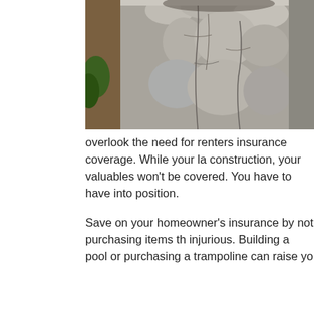[Figure (photo): Close-up photograph of weathered, cracked wood or bark texture with rough grey surface]
overlook the need for renters insurance coverage. While your la construction, your valuables won't be covered. You have to have into position.
Save on your homeowner's insurance by not purchasing items th injurious. Building a pool or purchasing a trampoline can raise yo